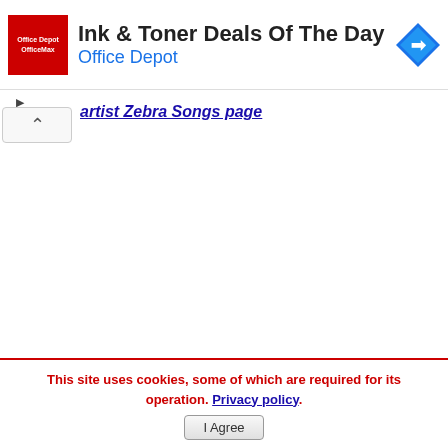[Figure (screenshot): Office Depot / OfficeMax red logo square]
Ink & Toner Deals Of The Day
Office Depot
[Figure (other): Blue navigation/direction arrow diamond icon]
artist Zebra Songs page
This site uses cookies, some of which are required for its operation. Privacy policy.
I Agree